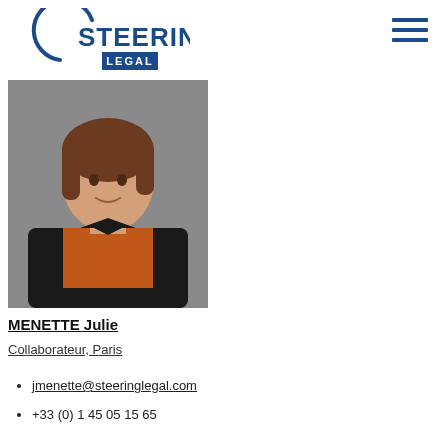[Figure (logo): Steering Legal logo with circular arc and text STEERING LEGAL in dark blue]
[Figure (photo): Professional headshot of Julie Menette, a woman with short brown hair wearing a black blazer and orange top, against a grey background]
MENETTE Julie
Collaborateur, Paris
jmenette@steeringlegal.com
+33 (0) 1 45 05 15 65